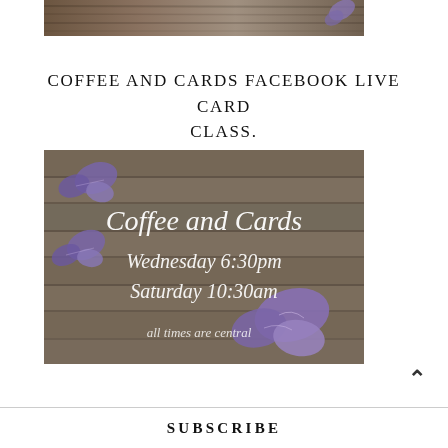[Figure (photo): Partial top image showing a rustic wood background with a purple butterfly cutout visible at top right corner]
COFFEE AND CARDS FACEBOOK LIVE CARD CLASS.
[Figure (photo): Promotional image with rustic gray wood plank background and purple butterfly cutouts. Text in white cursive reads: Coffee and Cards, Wednesday 6:30pm, Saturday 10:30am, all times are central]
^
SUBSCRIBE